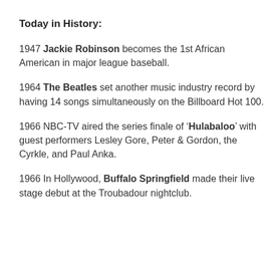Today in History:
1947 Jackie Robinson becomes the 1st African American in major league baseball.
1964 The Beatles set another music industry record by having 14 songs simultaneously on the Billboard Hot 100.
1966 NBC-TV aired the series finale of ‘Hulabaloo,’ with guest performers Lesley Gore, Peter & Gordon, the Cyrkle, and Paul Anka.
1966 In Hollywood, Buffalo Springfield made their live stage debut at the Troubadour nightclub.